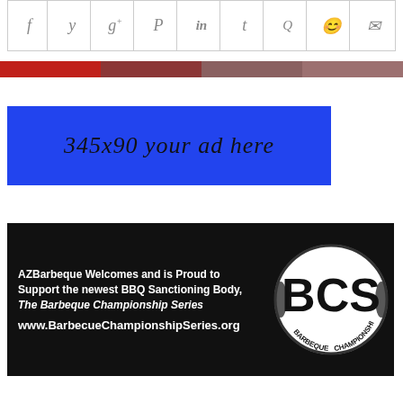[Figure (other): Social media sharing icons bar with Facebook, Twitter, Google+, Pinterest, LinkedIn, Tumblr, StumbleUpon, and other share buttons]
[Figure (other): Horizontal color gradient bar transitioning from bright red to dark muted rose/brown in four segments]
[Figure (other): Blue advertisement placeholder banner reading '345x90 your ad here' in italic script font]
[Figure (other): AZBarbeque BCS banner ad on black background. Text: 'AZBarbeque Welcomes and is Proud to Support the newest BBQ Sanctioning Body, The Barbeque Championship Series' and 'www.BarbecueChampionshipSeries.org' with BCS oval logo on right.]